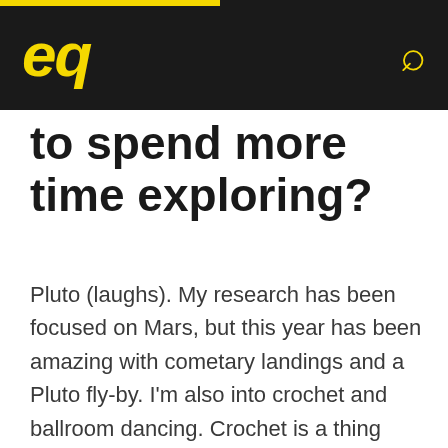eq
to spend more time exploring?
Pluto (laughs). My research has been focused on Mars, but this year has been amazing with cometary landings and a Pluto fly-by. I'm also into crochet and ballroom dancing. Crochet is a thing where using a lot of different variables you can make something simple like yarn or string into a huge variety of things. I make a